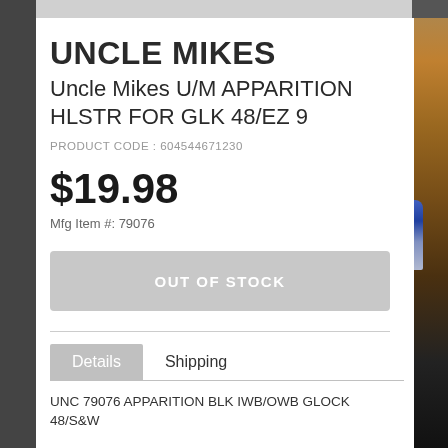UNCLE MIKES
Uncle Mikes U/M APPARITION HLSTR FOR GLK 48/EZ 9
PRODUCT CODE : 604544671230
$19.98
Mfg Item #: 79076
OUT OF STOCK
Details
Shipping
UNC 79076 APPARITION BLK IWB/OWB GLOCK 48/S&W